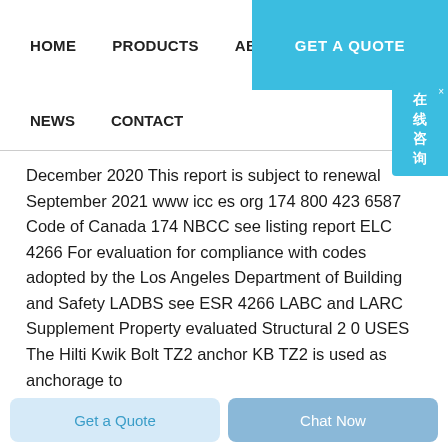HOME   PRODUCTS   ABOUT   GET A QUOTE   NEWS   CONTACT
December 2020 This report is subject to renewal September 2021 www icc es org 174 800 423 6587 Code of Canada 174 NBCC see listing report ELC 4266 For evaluation for compliance with codes adopted by the Los Angeles Department of Building and Safety LADBS see ESR 4266 LABC and LARC Supplement Property evaluated Structural 2 0 USES The Hilti Kwik Bolt TZ2 anchor KB TZ2 is used as anchorage to
Get a Quote   Chat Now